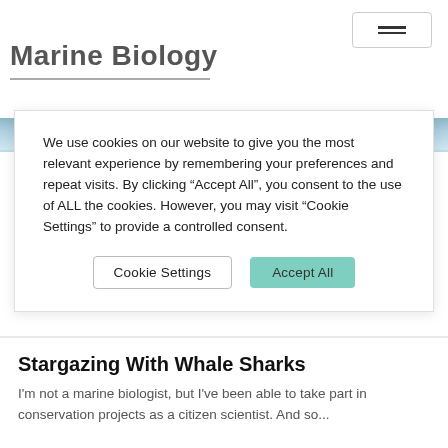Marine Biology
[Figure (photo): Partial image strip showing blue ocean/water scene]
We use cookies on our website to give you the most relevant experience by remembering your preferences and repeat visits. By clicking “Accept All”, you consent to the use of ALL the cookies. However, you may visit "Cookie Settings" to provide a controlled consent.
Cookie Settings   Accept All
Stargazing With Whale Sharks
I'm not a marine biologist, but I've been able to take part in conservation projects as a citizen scientist. And so...